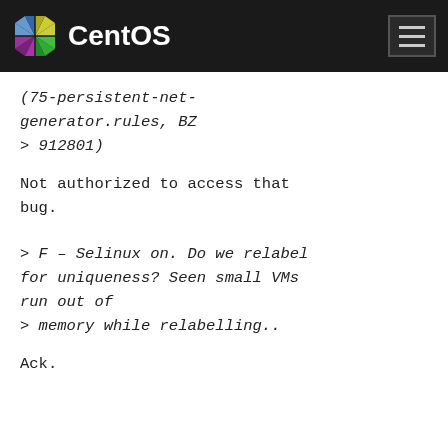CentOS
(75-persistent-net-generator.rules, BZ > 912801)
Not authorized to access that bug.
> F - Selinux on. Do we relabel for uniqueness? Seen small VMs run out of
> memory while relabelling..
Ack.